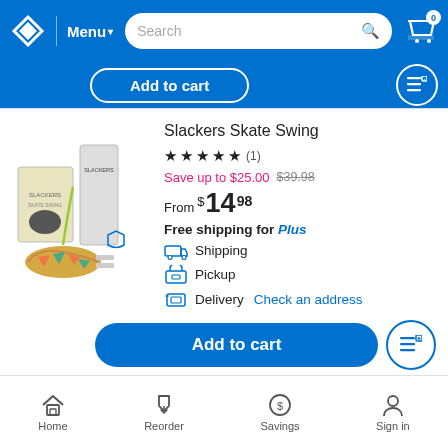Menu | Search | Cart (0)
Add to cart
Slackers Skate Swing
★★★★★ (1)
Save up to $25.00  $39.98
From $14.98
Free shipping for Plus
Shipping
Pickup
Delivery  Check an address
Add to cart
Home  Reorder  Savings  Sign in